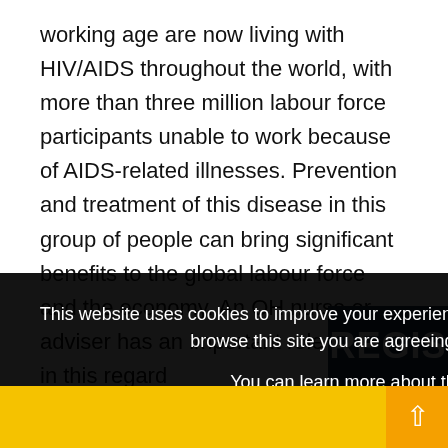working age are now living with HIV/AIDS throughout the world, with more than three million labour force participants unable to work because of AIDS-related illnesses. Prevention and treatment of this disease in this group of people can bring significant benefits to the global labour force and the economy. An OH nurse or adviser has an important role to play in this regard
This website uses cookies to improve your experience and for ads personalisation. By continuing to browse this site you are agreeing to our use of these cookies. You can learn more about the cookies we use here.
OK